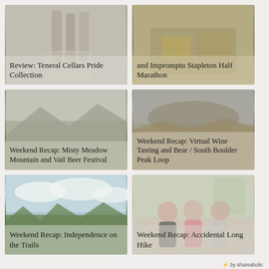[Figure (photo): Card with faded background showing bottles, text overlay: Review: Teneral Cellars Pride Collection]
Review: Teneral Cellars Pride Collection
[Figure (photo): Card with faded food/grill background, text overlay: and Impromptu Stapleton Half Marathon]
and Impromptu Stapleton Half Marathon
[Figure (photo): Card with misty mountain meadow background, text overlay: Weekend Recap: Misty Meadow Mountain and Vail Beer Festival]
Weekend Recap: Misty Meadow Mountain and Vail Beer Festival
[Figure (photo): Card with aerial mountain/rock background, text overlay: Weekend Recap: Virtual Wine Tasting and Bear / South Boulder Peak Loop]
Weekend Recap: Virtual Wine Tasting and Bear / South Boulder Peak Loop
[Figure (photo): Card with green hills and clouds background, text overlay: Weekend Recap: Independence on the Trails]
Weekend Recap: Independence on the Trails
[Figure (photo): Card with photo of three women posing indoors, text overlay: Weekend Recap: Accidental Long Hike]
Weekend Recap: Accidental Long Hike
⚡ by shareaholic